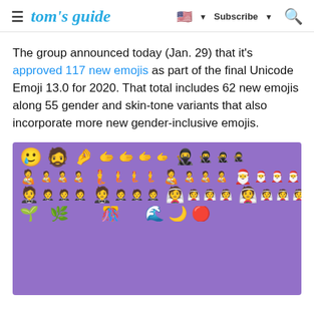tom's guide — Subscribe — Search
The group announced today (Jan. 29) that it's approved 117 new emojis as part of the final Unicode Emoji 13.0 for 2020. That total includes 62 new emojis along 55 gender and skin-tone variants that also incorporate more new gender-inclusive emojis.
[Figure (photo): A grid of new emojis displayed on a purple background, including smileys, people with different skin tones, ninjas, mermaids, people feeding babies, Santa hats, brides, and grooms.]